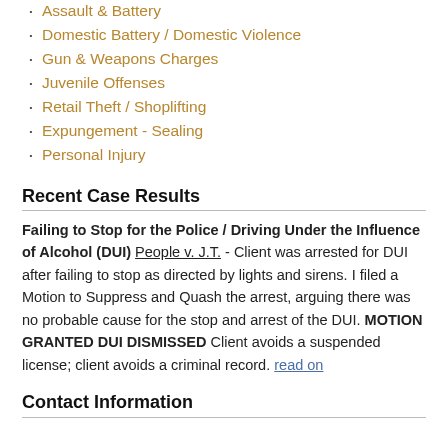Assault & Battery
Domestic Battery / Domestic Violence
Gun & Weapons Charges
Juvenile Offenses
Retail Theft / Shoplifting
Expungement - Sealing
Personal Injury
Recent Case Results
Failing to Stop for the Police / Driving Under the Influence of Alcohol (DUI) People v. J.T. - Client was arrested for DUI after failing to stop as directed by lights and sirens. I filed a Motion to Suppress and Quash the arrest, arguing there was no probable cause for the stop and arrest of the DUI. MOTION GRANTED DUI DISMISSED Client avoids a suspended license; client avoids a criminal record. read on
Contact Information